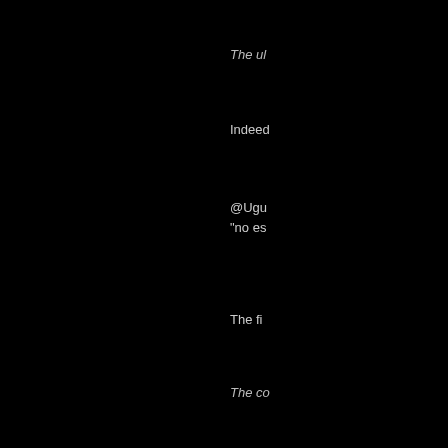The ul...
Indeed...
@Ugu... "no es...
The fi...
The co...
I do lik...
Reply
[Figure (photo): User avatar - globe/earth icon, blue and white]
Blam...
@Matt...
@Teeb... but I've...